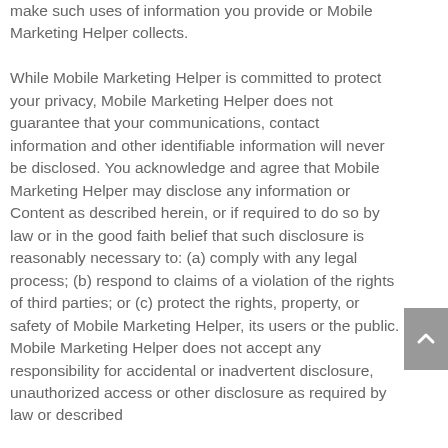make such uses of information you provide or Mobile Marketing Helper collects. While Mobile Marketing Helper is committed to protect your privacy, Mobile Marketing Helper does not guarantee that your communications, contact information and other identifiable information will never be disclosed. You acknowledge and agree that Mobile Marketing Helper may disclose any information or Content as described herein, or if required to do so by law or in the good faith belief that such disclosure is reasonably necessary to: (a) comply with any legal process; (b) respond to claims of a violation of the rights of third parties; or (c) protect the rights, property, or safety of Mobile Marketing Helper, its users or the public. Mobile Marketing Helper does not accept any responsibility for accidental or inadvertent disclosure, unauthorized access or other disclosure as required by law or described